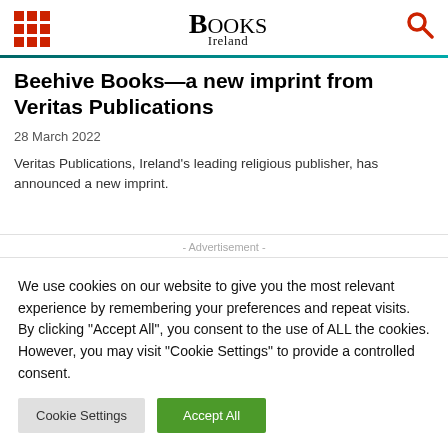Books Ireland
Beehive Books—a new imprint from Veritas Publications
28 March 2022
Veritas Publications, Ireland's leading religious publisher, has announced a new imprint.
- Advertisement -
We use cookies on our website to give you the most relevant experience by remembering your preferences and repeat visits. By clicking "Accept All", you consent to the use of ALL the cookies. However, you may visit "Cookie Settings" to provide a controlled consent.